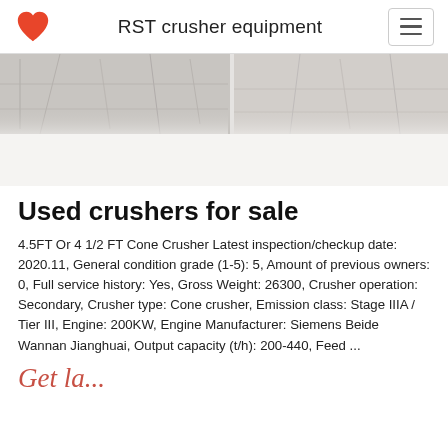RST crusher equipment
[Figure (photo): Partial view of crusher/industrial equipment site, split into two panels side by side, grayscale tones]
Used crushers for sale
4.5FT Or 4 1/2 FT Cone Crusher Latest inspection/checkup date: 2020.11, General condition grade (1-5): 5, Amount of previous owners: 0, Full service history: Yes, Gross Weight: 26300, Crusher operation: Secondary, Crusher type: Cone crusher, Emission class: Stage IIIA / Tier III, Engine: 200KW, Engine Manufacturer: Siemens Beide Wannan Jianghuai, Output capacity (t/h): 200-440, Feed ...
Get latest...